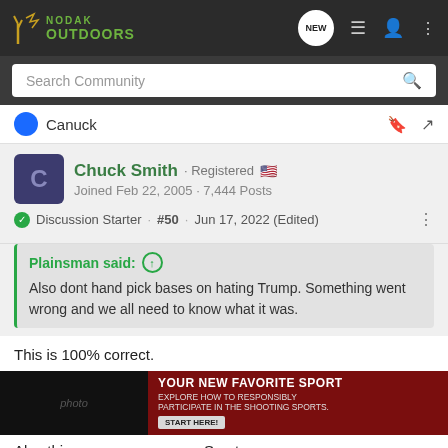[Figure (screenshot): Nodak Outdoors forum website header with logo, search bar, navigation icons]
Canuck
Chuck Smith · Registered 🇺🇸
Joined Feb 22, 2005 · 7,444 Posts
Discussion Starter · #50 · Jun 17, 2022 (Edited)
Plainsman said:
Also dont hand pick bases on hating Trump. Something went wrong and we all need to know what it was.
This is 100% correct.
[Figure (photo): Advertisement banner: YOUR NEW FAVORITE SPORT - Explore how to responsibly participate in the shooting sports. START HERE!]
Also this